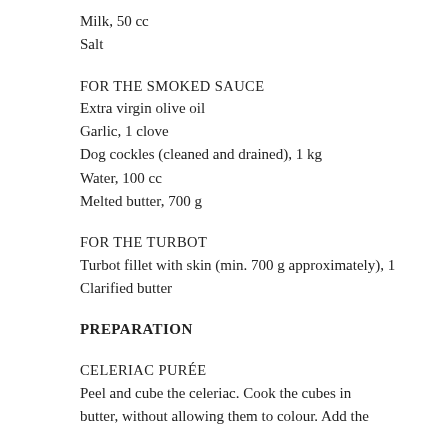Milk, 50 cc
Salt
FOR THE SMOKED SAUCE
Extra virgin olive oil
Garlic, 1 clove
Dog cockles (cleaned and drained), 1 kg
Water, 100 cc
Melted butter, 700 g
FOR THE TURBOT
Turbot fillet with skin (min. 700 g approximately), 1
Clarified butter
PREPARATION
CELERIAC PURÉE
Peel and cube the celeriac. Cook the cubes in butter, without allowing them to colour. Add the